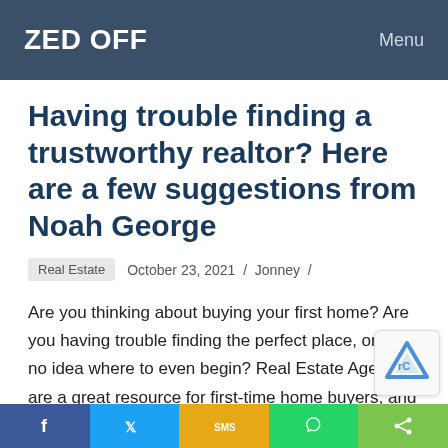ZED OFF   Menu
Having trouble finding a trustworthy realtor? Here are a few suggestions from Noah George
Real Estate   October 23, 2021 / Jonney /
Are you thinking about buying your first home? Are you having trouble finding the perfect place, or have no idea where to even begin? Real Estate Agents are a great resource for first-time home buyers, and